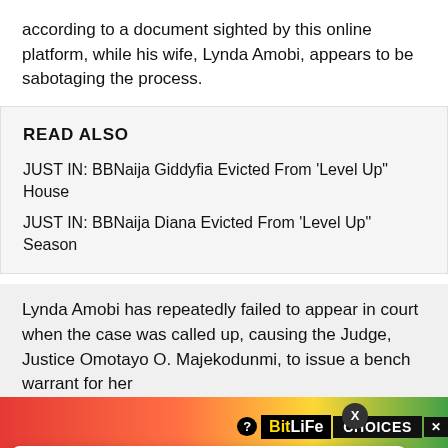according to a document sighted by this online platform, while his wife, Lynda Amobi, appears to be sabotaging the process.
READ ALSO
JUST IN: BBNaija Giddyfia Evicted From 'Level Up" House
JUST IN: BBNaija Diana Evicted From 'Level Up" Season
Lynda Amobi has repeatedly failed to appear in court when the case was called up, causing the Judge, Justice Omotayo O. Majekodunmi, to issue a bench warrant for her
[Figure (screenshot): Advertisement banner and notification popup overlay. Ad banner shows colorful gradient with BitLife Choices game ad. Popup notification from GlamTush showing headline 'I Didn't Know How I Defiled 14-Year-Old Chorister –' from 11 hours ago. Blue bell notification button with badge showing 3 in bottom right corner.]